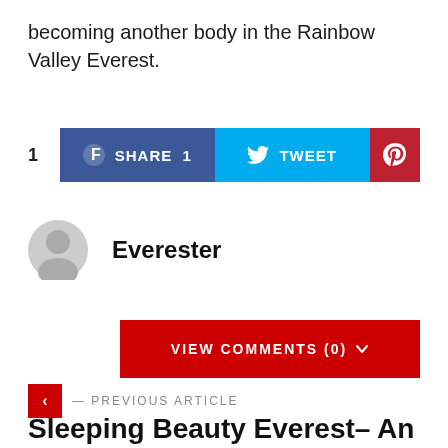becoming another body in the Rainbow Valley Everest.
[Figure (infographic): Social sharing buttons: Facebook SHARE 1, Twitter TWEET, Pinterest icon; with share count of 1]
Everester
VIEW COMMENTS (0)
— PREVIOUS ARTICLE
Sleeping Beauty Everest– An